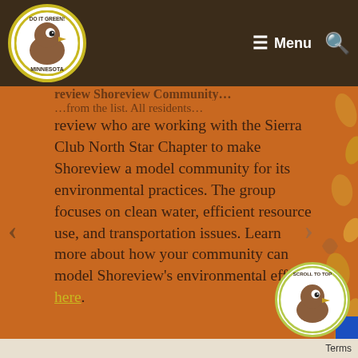Do It Green! Minnesota — Menu (navigation bar)
review who are working with the Sierra Club North Star Chapter to make Shoreview a model community for its environmental practices. The group focuses on clean water, efficient resource use, and transportation issues. Learn more about how your community can model Shoreview's environmental efforts here.